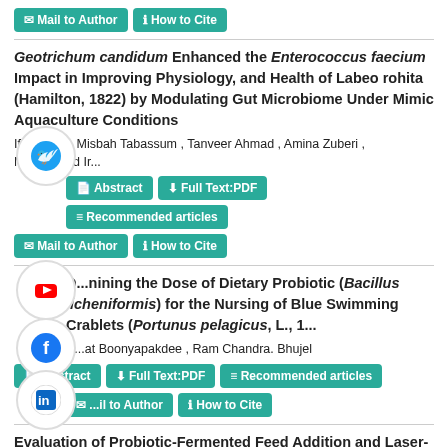Mail to Author | How to Cite
Geotrichum candidum Enhanced the Enterococcus faecium Impact in Improving Physiology, and Health of Labeo rohita (Hamilton, 1822) by Modulating Gut Microbiome Under Mimic Aquaculture Conditions
Ifra Ghori , Misbah Tabassum , Tanveer Ahmad , Amina Zuberi , Muhammad Ir...
Abstract | Full Text:PDF | Recommended articles | Mail to Author | How to Cite
Determining the Dose of Dietary Probiotic (Bacillus licheniformis) for the Nursing of Blue Swimming Crablets (Portunus pelagicus, L., 1...
A...at Boonyapakdee , Ram Chandra. Bhujel
Abstract | Full Text:PDF | Recommended articles | Mail to Author | How to Cite
Evaluation of Probiotic-Fermented Feed Addition and Laser-Firing to Accelerate Mature Broodstocks and Seed Productions of African Catfish (Clarias garieninus)